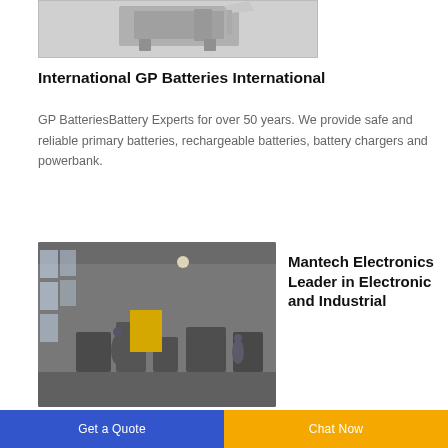[Figure (photo): Top partial image of an industrial machine on a white background]
International GP Batteries International
GP BatteriesBattery Experts for over 50 years. We provide safe and reliable primary batteries, rechargeable batteries, battery chargers and powerbank.
[Figure (photo): Interior of an industrial factory/workshop with workers and heavy machinery, large windows on the left]
Mantech Electronics Leader in Electronic and Industrial
Get a Quote   Chat Now